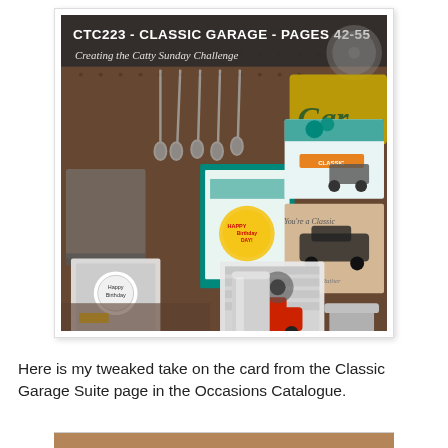[Figure (photo): A promotional image for CTC223 - Classic Garage - Pages 42-55, showing a garage-themed display with handmade stamping cards featuring cars, gears, and classic garage motifs. Cards displayed on a pegboard background with tools, a metal tumbler, and a Stampin' Up! logo. Subtitle reads 'Creating the Catty Sunday Challenge'.]
Here is my tweaked take on the card from the Classic Garage Suite page in the Occasions Catalogue.
[Figure (photo): Partial view of another card or image at the bottom of the page, showing a warm brown/orange background.]